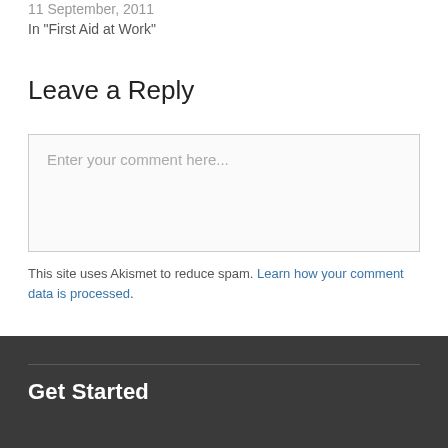11 September, 2011
In "First Aid at Work"
Leave a Reply
Enter your comment here...
This site uses Akismet to reduce spam. Learn how your comment data is processed.
Get Started